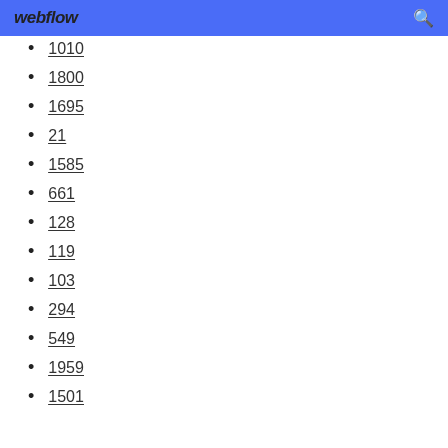webflow
1010
1800
1695
21
1585
661
128
119
103
294
549
1959
1501